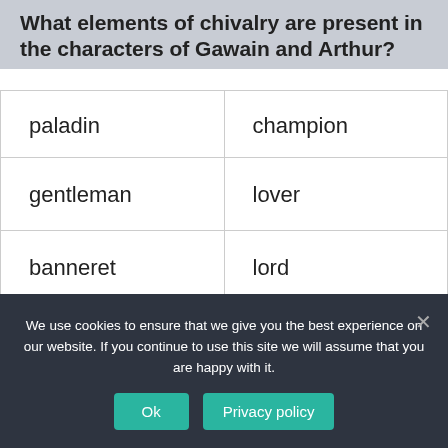What elements of chivalry are present in the characters of Gawain and Arthur?
| paladin | champion |
| gentleman | lover |
| banneret | lord |
[Figure (infographic): Social sharing icons: Facebook, Twitter, Email, Reddit, WhatsApp, Messenger, Telegram, Share/Plus]
We use cookies to ensure that we give you the best experience on our website. If you continue to use this site we will assume that you are happy with it.